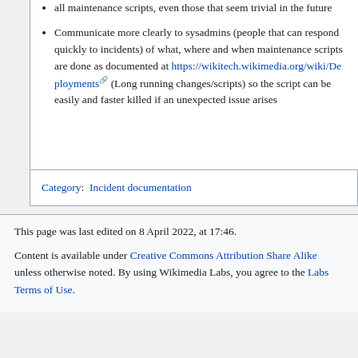all maintenance scripts, even those that seem trivial in the future
Communicate more clearly to sysadmins (people that can respond quickly to incidents) of what, where and when maintenance scripts are done as documented at https://wikitech.wikimedia.org/wiki/Deployments (Long running changes/scripts) so the script can be easily and faster killed if an unexpected issue arises
Category: Incident documentation
This page was last edited on 8 April 2022, at 17:46.
Content is available under Creative Commons Attribution Share Alike unless otherwise noted. By using Wikimedia Labs, you agree to the Labs Terms of Use.